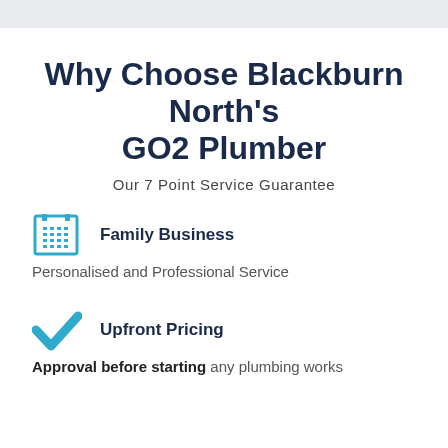Why Choose Blackburn North's GO2 Plumber
Our 7 Point Service Guarantee
Family Business
Personalised and Professional Service
Upfront Pricing
Approval before starting any plumbing works